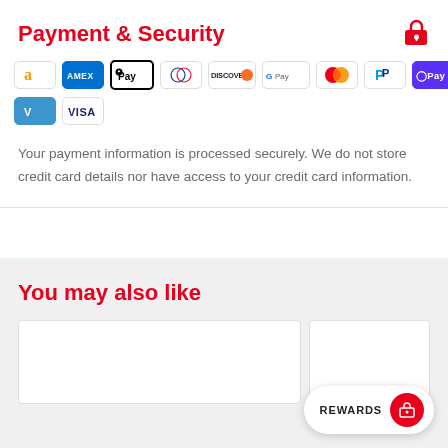Payment & Security
[Figure (infographic): Payment method icons: Amazon, AMEX, Apple Pay, Diners Club, Discover, Google Pay, Mastercard, PayPal, OPay, Venmo, Visa]
Your payment information is processed securely. We do not store credit card details nor have access to your credit card information.
You may also like